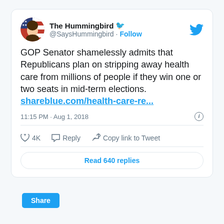[Figure (screenshot): Screenshot of a tweet from 'The Hummingbird' (@SaysHummingbird) with a Follow button and Twitter bird icon. Tweet text: 'GOP Senator shamelessly admits that Republicans plan on stripping away health care from millions of people if they win one or two seats in mid-term elections. shareblue.com/health-care-re...' Posted 11:15 PM · Aug 1, 2018. 4K likes. Reply. Copy link to Tweet. Read 640 replies button. Share button at bottom.]